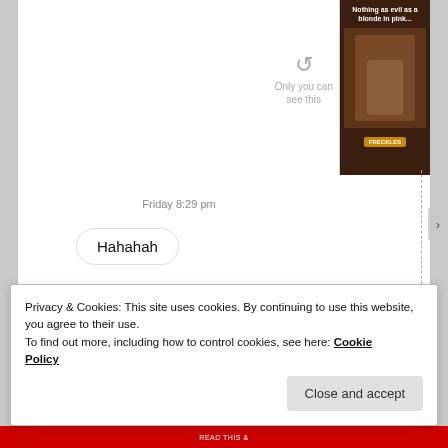[Figure (screenshot): Social media chat interface screenshot showing message thread with replay icon, timestamp 'Friday 8:29 pm', chat bubbles reading 'Hahahah', 'U KNOW IT BBZ', and 'Ha, you are just so evil in this. Love it 😘', with an advertisement on the right side showing 'Nothing as evil as a blonde in pink...']
Only you can see this
Friday 8:29 pm
Hahahah
U KNOW IT BBZ
Ha, you are just so evil in this. Love it 😘
Privacy & Cookies: This site uses cookies. By continuing to use this website, you agree to their use.
To find out more, including how to control cookies, see here: Cookie Policy
Close and accept